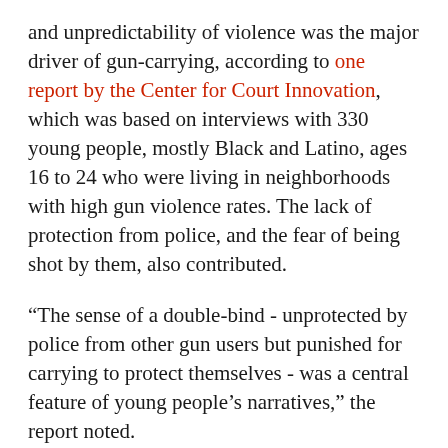and unpredictability of violence was the major driver of gun-carrying, according to one report by the Center for Court Innovation, which was based on interviews with 330 young people, mostly Black and Latino, ages 16 to 24 who were living in neighborhoods with high gun violence rates. The lack of protection from police, and the fear of being shot by them, also contributed.
“The sense of a double-bind - unprotected by police from other gun users but punished for carrying to protect themselves - was a central feature of young people’s narratives,” the report noted.
“A lot of people mistrust the police because ‘the police are quick to harass me, but aren’t necessarily quick to protect me when I need them,’” said the center’s Haley Nolasco, the director of community-based violence prevention. “A lot of people are